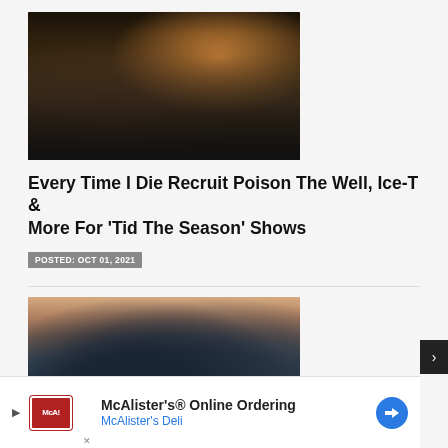[Figure (photo): Band photo showing 5-6 members in a dimly lit room with decorative wallpaper and warm lighting, one member wearing a '1978' t-shirt]
Every Time I Die Recruit Poison The Well, Ice-T & More For 'Tid The Season' Shows
POSTED: OCT 01, 2021
[Figure (photo): Close-up photo of two people with dark hair against a reddish-brown textured background]
McAlister's® Online Ordering
McAlister's Deli